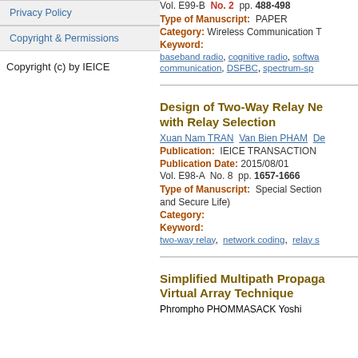Privacy Policy
Copyright & Permissions
Copyright (c) by IEICE
Vol. E99-B  No. 2  pp. 488-498
Type of Manuscript:  PAPER
Category:  Wireless Communication T...
Keyword:
baseband radio, cognitive radio, softwa..., communication, DSFBC, spectrum-sp...
Design of Two-Way Relay Ne... with Relay Selection
Xuan Nam TRAN  Van Bien PHAM  De...
Publication:   IEICE TRANSACTION
Publication Date: 2015/08/01
Vol. E98-A  No. 8  pp. 1657-1666
Type of Manuscript:  Special Section... and Secure Life)
Category:
Keyword:
two-way relay, network coding, relay s...
Simplified Multipath Propaga... Virtual Array Technique
Phrompho PHOMMASACK Yoshi...